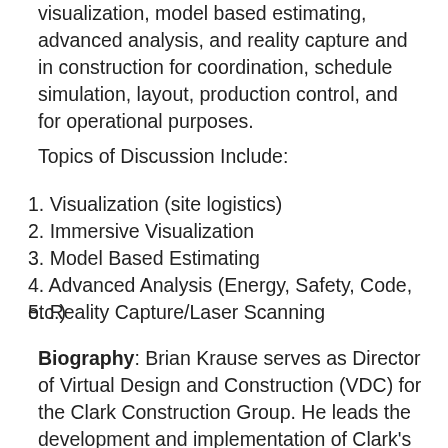visualization, model based estimating, advanced analysis, and reality capture and in construction for coordination, schedule simulation, layout, production control, and for operational purposes.
Topics of Discussion Include:
1. Visualization (site logistics)
2. Immersive Visualization
3. Model Based Estimating
4. Advanced Analysis (Energy, Safety, Code, etc.)
5. Reality Capture/Laser Scanning
Biography: Brian Krause serves as Director of Virtual Design and Construction (VDC) for the Clark Construction Group. He leads the development and implementation of Clark's VDC strategy. Brian has fifteen years of industry experience with successful leadership roles in project management, business management, and construction technology